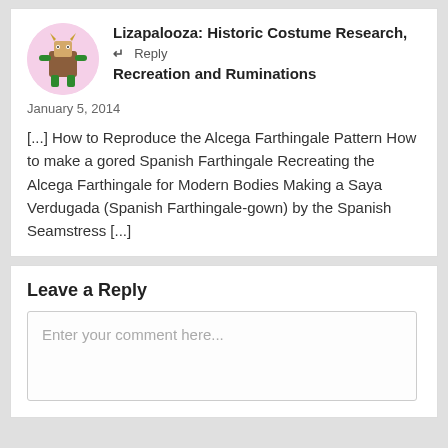Lizapalooza: Historic Costume Research, Recreation and Ruminations
January 5, 2014
[...] How to Reproduce the Alcega Farthingale Pattern How to make a gored Spanish Farthingale Recreating the Alcega Farthingale for Modern Bodies Making a Saya Verdugada (Spanish Farthingale-gown) by the Spanish Seamstress [...]
Leave a Reply
Enter your comment here...